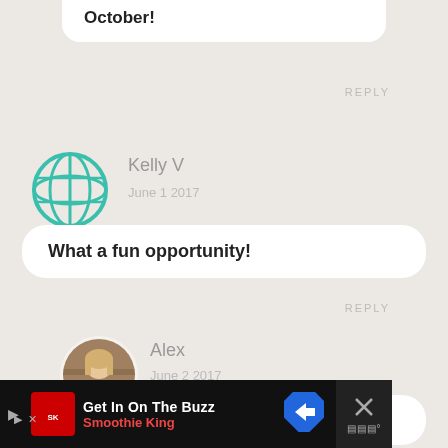October!
REPLY
Kelly V
June 1 2017
What a fun opportunity!
REPLY
[Figure (photo): Profile photo of Alex - woman with blonde hair]
Alex
June 2 2017
Good luck, Kelly!
Get In On The Buzz
Smoothie King